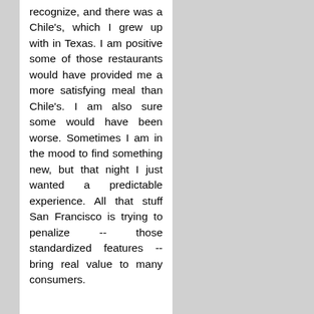recognize, and there was a Chile's, which I grew up with in Texas. I am positive some of those restaurants would have provided me a more satisfying meal than Chile's. I am also sure some would have been worse. Sometimes I am in the mood to find something new, but that night I just wanted a predictable experience. All that stuff San Francisco is trying to penalize -- those standardized features -- bring real value to many consumers.